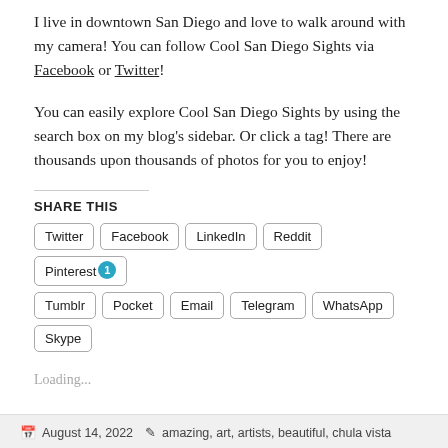I live in downtown San Diego and love to walk around with my camera! You can follow Cool San Diego Sights via Facebook or Twitter!
You can easily explore Cool San Diego Sights by using the search box on my blog's sidebar. Or click a tag! There are thousands upon thousands of photos for you to enjoy!
SHARE THIS
Twitter Facebook LinkedIn Reddit Pinterest 1 Tumblr Pocket Email Telegram WhatsApp Skype
Loading...
August 14, 2022   amazing, art, artists, beautiful, chula vista